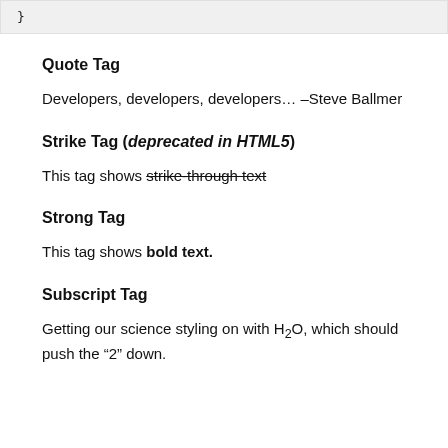}
Quote Tag
Developers, developers, developers… –Steve Ballmer
Strike Tag (deprecated in HTML5)
This tag shows strike-through text
Strong Tag
This tag shows bold text.
Subscript Tag
Getting our science styling on with H₂O, which should push the “2” down.